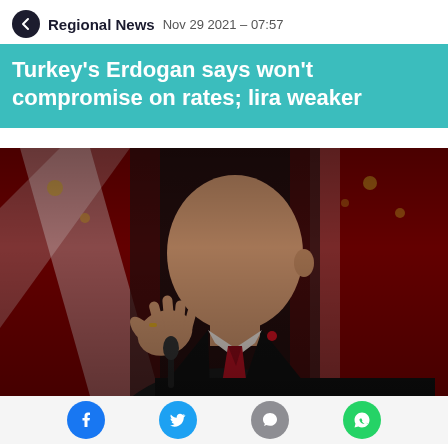Regional News  Nov 29 2021 – 07:57
Turkey's Erdogan says won't compromise on rates; lira weaker
[Figure (photo): Photo of Turkish President Erdogan in a dark suit with a red tie, gesturing with his right hand while speaking, with red Turkish flags with crescent and star in the background.]